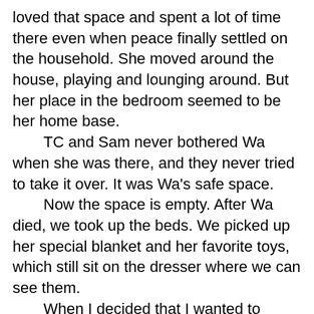loved that space and spent a lot of time there even when peace finally settled on the household. She moved around the house, playing and lounging around. But her place in the bedroom seemed to be her home base.
  TC and Sam never bothered Wa when she was there, and they never tried to take it over. It was Wa's safe space.
  Now the space is empty. After Wa died, we took up the beds. We picked up her special blanket and her favorite toys, which still sit on the dresser where we can see them.
  When I decided that I wanted to commit to meditating on a regular basis, I wondered where I would do it. I wanted a space in the house where it would be quiet and where I knew I could always go to be still.
  I decided to use Wa's space. I sit on the floor looking out over the bedroom like Wa did. I stare at